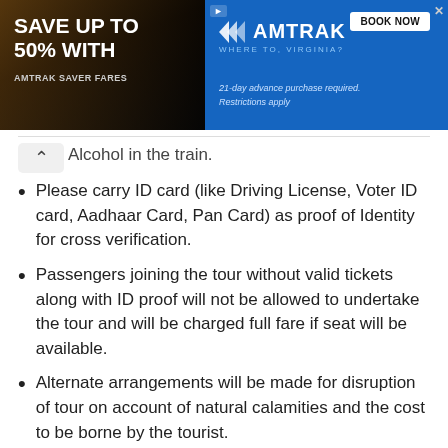[Figure (illustration): Amtrak advertisement banner: Save up to 50% with Amtrak Saver Fares. Book Now button. 21-day advance purchase required. Restrictions apply.]
Alcohol in the train.
Please carry ID card (like Driving License, Voter ID card, Aadhaar Card, Pan Card) as proof of Identity for cross verification.
Passengers joining the tour without valid tickets along with ID proof will not be allowed to undertake the tour and will be charged full fare if seat will be available.
Alternate arrangements will be made for disruption of tour on account of natural calamities and the cost to be borne by the tourist.
Arrangements will be made for medical attention during sickness, the cost for which need to be borne by the tourist.
The tour program may be subject to alterations due